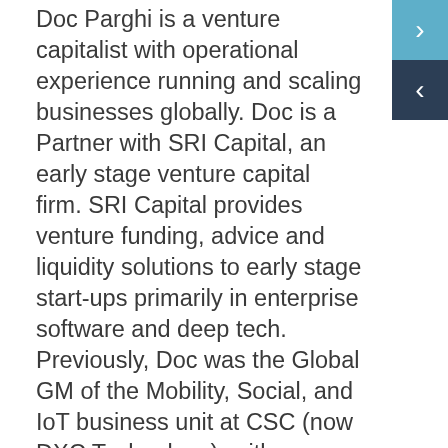Doc Parghi is a venture capitalist with operational experience running and scaling businesses globally. Doc is a Partner with SRI Capital, an early stage venture capital firm. SRI Capital provides venture funding, advice and liquidity solutions to early stage start-ups primarily in enterprise software and deep tech. Previously, Doc was the Global GM of the Mobility, Social, and IoT business unit at CSC (now DXC Technology), with complete responsibility for building the business globally. DXC (NYSE: DXC) is a $20 Billion IT services and consulting company.
Doc was on the founding team at AppLabs, the world's largest independent software testing company with over 3,500...
[Figure (other): Navigation chevron buttons: a teal/blue forward '>' arrow button on top, and a dark navy '<' back arrow button below]